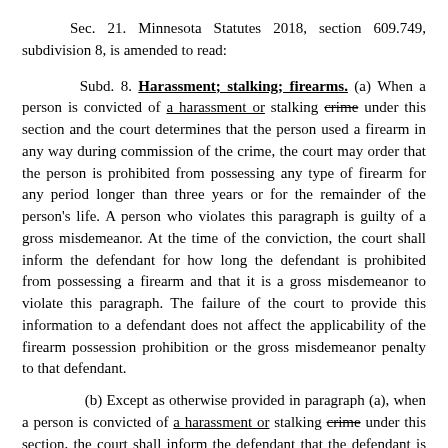Sec. 21. Minnesota Statutes 2018, section 609.749, subdivision 8, is amended to read:
Subd. 8. Harassment; stalking; firearms. (a) When a person is convicted of a harassment or stalking crime under this section and the court determines that the person used a firearm in any way during commission of the crime, the court may order that the person is prohibited from possessing any type of firearm for any period longer than three years or for the remainder of the person's life. A person who violates this paragraph is guilty of a gross misdemeanor. At the time of the conviction, the court shall inform the defendant for how long the defendant is prohibited from possessing a firearm and that it is a gross misdemeanor to violate this paragraph. The failure of the court to provide this information to a defendant does not affect the applicability of the firearm possession prohibition or the gross misdemeanor penalty to that defendant.
(b) Except as otherwise provided in paragraph (a), when a person is convicted of a harassment or stalking crime under this section, the court shall inform the defendant that the defendant is prohibited from possessing a firearm for the same period of time during which the defendant is